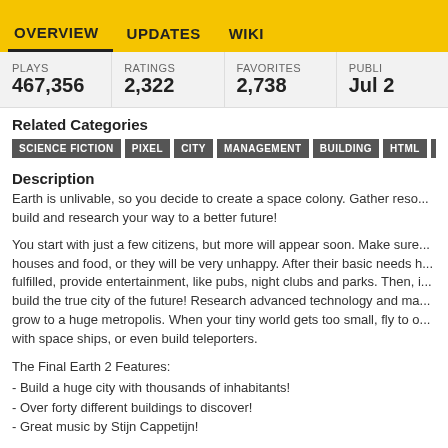OVERVIEW   UPDATES   WIKI
| PLAYS | RATINGS | FAVORITES | PUBLI... |
| --- | --- | --- | --- |
| 467,356 | 2,322 | 2,738 | Jul 2 |
Related Categories
SCIENCE FICTION  PIXEL  CITY  MANAGEMENT  BUILDING  HTML  STRAT...
Description
Earth is unlivable, so you decide to create a space colony. Gather reso... build and research your way to a better future!
You start with just a few citizens, but more will appear soon. Make sure... houses and food, or they will be very unhappy. After their basic needs h... fulfilled, provide entertainment, like pubs, night clubs and parks. Then, i... build the true city of the future! Research advanced technology and ma... grow to a huge metropolis. When your tiny world gets too small, fly to o... with space ships, or even build teleporters.
The Final Earth 2 Features:
- Build a huge city with thousands of inhabitants!
- Over forty different buildings to discover!
- Great music by Stijn Cappetijn!